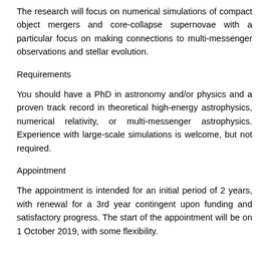The research will focus on numerical simulations of compact object mergers and core-collapse supernovae with a particular focus on making connections to multi-messenger observations and stellar evolution.
Requirements
You should have a PhD in astronomy and/or physics and a proven track record in theoretical high-energy astrophysics, numerical relativity, or multi-messenger astrophysics. Experience with large-scale simulations is welcome, but not required.
Appointment
The appointment is intended for an initial period of 2 years, with renewal for a 3rd year contingent upon funding and satisfactory progress. The start of the appointment will be on 1 October 2019, with some flexibility.